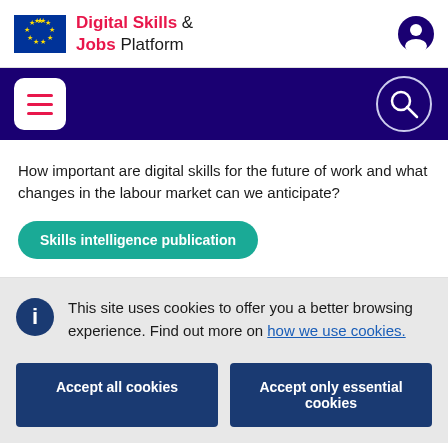Digital Skills & Jobs Platform
How important are digital skills for the future of work and what changes in the labour market can we anticipate?
Skills intelligence publication
This site uses cookies to offer you a better browsing experience. Find out more on how we use cookies.
Accept all cookies
Accept only essential cookies